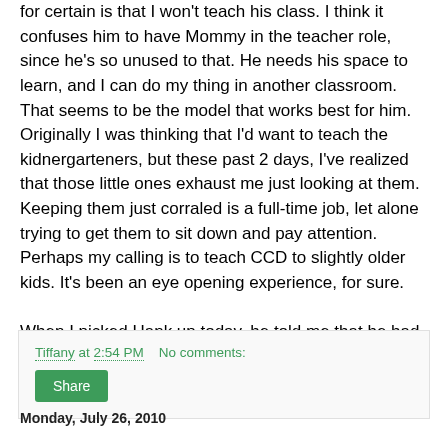for certain is that I won't teach his class. I think it confuses him to have Mommy in the teacher role, since he's so unused to that. He needs his space to learn, and I can do my thing in another classroom. That seems to be the model that works best for him. Originally I was thinking that I'd want to teach the kidnergarteners, but these past 2 days, I've realized that those little ones exhaust me just looking at them. Keeping them just corraled is a full-time job, let alone trying to get them to sit down and pay attention. Perhaps my calling is to teach CCD to slightly older kids. It's been an eye opening experience, for sure.

When I picked Hank up today, he told me that he had a great time at Vacation Bible School. Halo perched right on his cute crew cut...
Tiffany at 2:54 PM    No comments:
Share
Monday, July 26, 2010